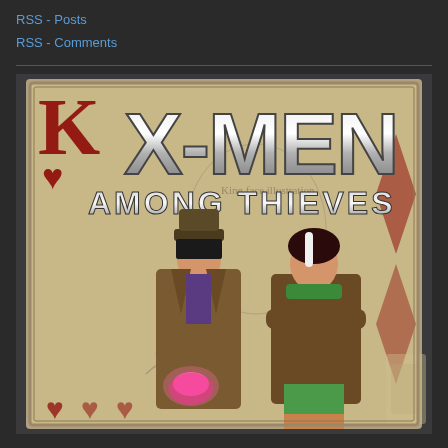RSS - Posts
RSS - Comments
[Figure (illustration): Comic book cover art for 'X-Men Among Thieves' featuring stylized metallic X-MEN logo text, subtitle 'AMONG THIEVES', and two comic-style characters (Gambit in trench coat with glowing pink energy card, and Rogue with white-striped hair in brown jacket) set against a playing card King of Hearts background on a textured grey background.]